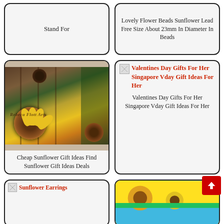Stand For
Lovely Flower Beads Sunflower Lead Free Size About 23mm In Diameter In Beads
[Figure (photo): Sunflower painting in rustic wooden frame by Rebeca Flott Arts]
Cheap Sunflower Gift Ideas Find Sunflower Gift Ideas Deals
Valentines Day Gifts For Her Singapore Vday Gift Ideas For Her
Valentines Day Gifts For Her Singapore Vday Gift Ideas For Her
Sunflower Earrings
[Figure (photo): Colorful sunflower-themed image with bright yellow, green and blue colors]